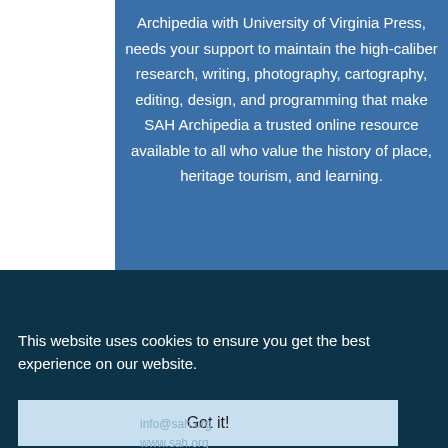Archipedia with University of Virginia Press, needs your support to maintain the high-caliber research, writing, photography, cartography, editing, design, and programming that make SAH Archipedia a trusted online resource available to all who value the history of place, heritage tourism, and learning.
This website uses cookies to ensure you get the best experience on our website.
Got it!
info@sah.org
www.sah.org